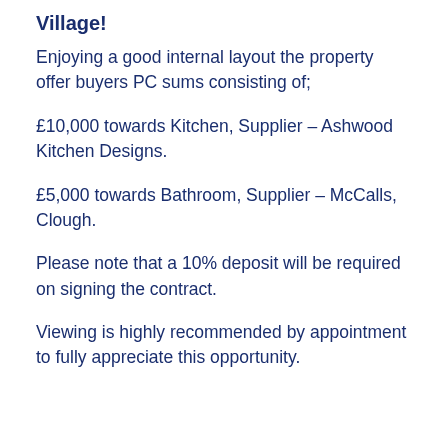Village!
Enjoying a good internal layout the property offer buyers PC sums consisting of;
£10,000 towards Kitchen, Supplier – Ashwood Kitchen Designs.
£5,000 towards Bathroom, Supplier – McCalls, Clough.
Please note that a 10% deposit will be required on signing the contract.
Viewing is highly recommended by appointment to fully appreciate this opportunity.